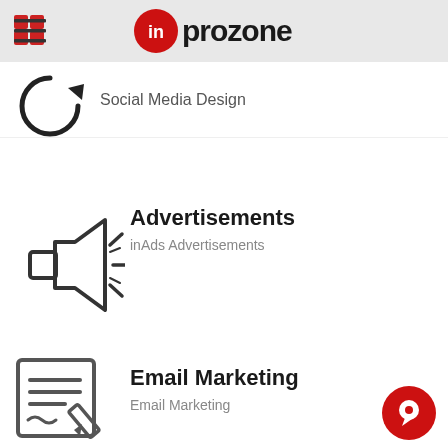inprozone
[Figure (illustration): Circular arrow refresh icon (Social Media Design partial item)]
Social Media Design
[Figure (illustration): Megaphone/bullhorn icon for Advertisements section]
Advertisements
inAds Advertisements
[Figure (illustration): Document with pencil icon for Email Marketing section]
Email Marketing
Email Marketing